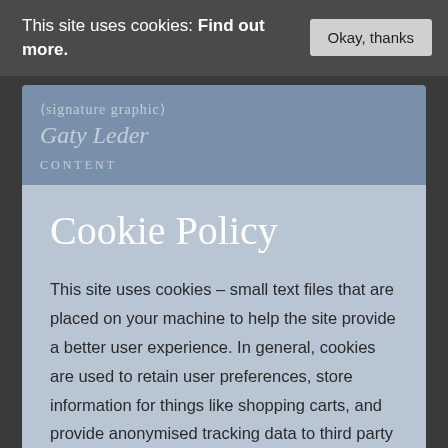This site uses cookies: Find out more.
Okay, thanks
[Figure (logo): Website logo with italic script text in the header band]
Cookie Policy
This site uses cookies – small text files that are placed on your machine to help the site provide a better user experience. In general, cookies are used to retain user preferences, store information for things like shopping carts, and provide anonymised tracking data to third party applications like Google Analytics. As a rule, cookies will make your